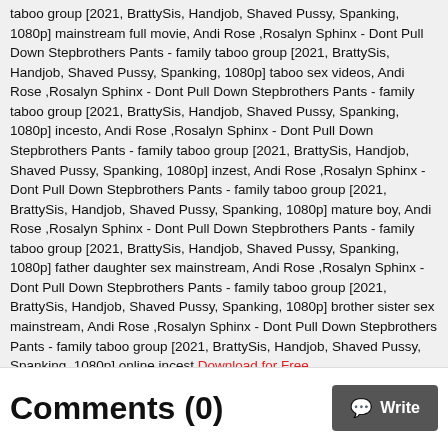taboo group [2021, BrattySis, Handjob, Shaved Pussy, Spanking, 1080p] mainstream full movie, Andi Rose ,Rosalyn Sphinx - Dont Pull Down Stepbrothers Pants - family taboo group [2021, BrattySis, Handjob, Shaved Pussy, Spanking, 1080p] taboo sex videos, Andi Rose ,Rosalyn Sphinx - Dont Pull Down Stepbrothers Pants - family taboo group [2021, BrattySis, Handjob, Shaved Pussy, Spanking, 1080p] incesto, Andi Rose ,Rosalyn Sphinx - Dont Pull Down Stepbrothers Pants - family taboo group [2021, BrattySis, Handjob, Shaved Pussy, Spanking, 1080p] inzest, Andi Rose ,Rosalyn Sphinx - Dont Pull Down Stepbrothers Pants - family taboo group [2021, BrattySis, Handjob, Shaved Pussy, Spanking, 1080p] mature boy, Andi Rose ,Rosalyn Sphinx - Dont Pull Down Stepbrothers Pants - family taboo group [2021, BrattySis, Handjob, Shaved Pussy, Spanking, 1080p] father daughter sex mainstream, Andi Rose ,Rosalyn Sphinx - Dont Pull Down Stepbrothers Pants - family taboo group [2021, BrattySis, Handjob, Shaved Pussy, Spanking, 1080p] brother sister sex mainstream, Andi Rose ,Rosalyn Sphinx - Dont Pull Down Stepbrothers Pants - family taboo group [2021, BrattySis, Handjob, Shaved Pussy, Spanking, 1080p] online incest, Download for Free
Comments (0)